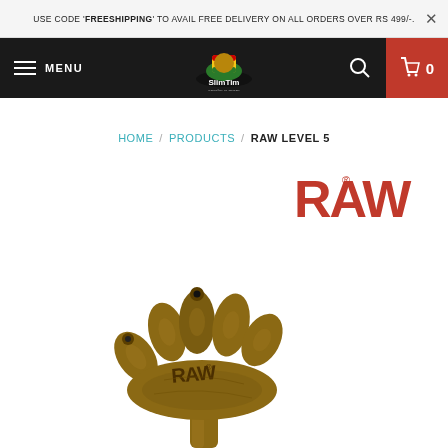USE CODE 'FREESHIPPING' TO AVAIL FREE DELIVERY ON ALL ORDERS OVER RS 499/-.
[Figure (screenshot): E-commerce website navigation bar with hamburger menu icon, MENU text, SlimTim logo in center, search icon, and red cart icon showing 0 items]
HOME / PRODUCTS / RAW LEVEL 5
[Figure (photo): RAW branded wooden pipe in the shape of a hand/claw with 5 openings and a stem, with the RAW logo in red above the product image]